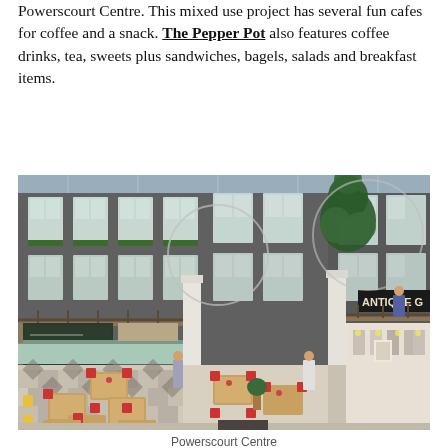Powerscourt Centre. This mixed use project has several fun cafes for coffee and a snack. The Pepper Pot also features coffee drinks, tea, sweets plus sandwiches, bagels, salads and breakfast items.
[Figure (photo): Interior aerial view of Powerscourt Centre showing a cafe area with wooden tables, checkered floor, red chairs, white columns, brick walls with large windows, balcony level with clothing shops, and decorative green topiary sculpture. A sign reading 'ANTIQUE G' is visible in the upper right.]
Powerscourt Centre